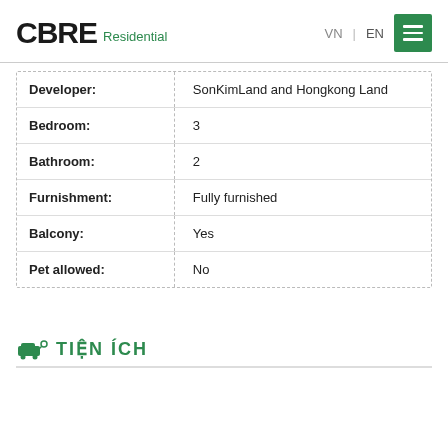CBRE Residential | VN | EN
| Property | Value |
| --- | --- |
| Developer: | SonKimLand and Hongkong Land |
| Bedroom: | 3 |
| Bathroom: | 2 |
| Furnishment: | Fully furnished |
| Balcony: | Yes |
| Pet allowed: | No |
TIỆN ÍCH